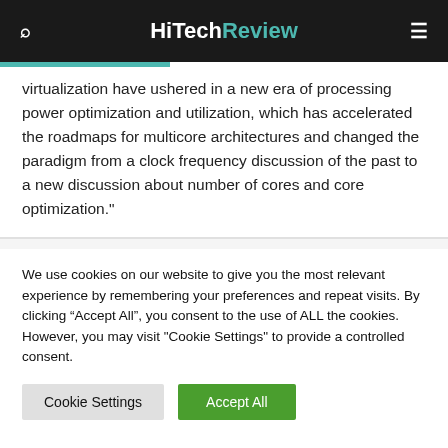HiTechReview
virtualization have ushered in a new era of processing power optimization and utilization, which has accelerated the roadmaps for multicore architectures and changed the paradigm from a clock frequency discussion of the past to a new discussion about number of cores and core optimization."
We use cookies on our website to give you the most relevant experience by remembering your preferences and repeat visits. By clicking "Accept All", you consent to the use of ALL the cookies. However, you may visit "Cookie Settings" to provide a controlled consent.